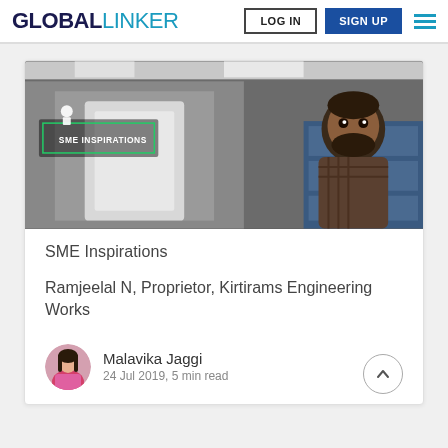GLOBALLINKER | LOG IN | SIGN UP
[Figure (photo): SME Inspirations banner image showing a man with beard in an industrial/factory setting with machinery. Overlay text reads 'SME INSPIRATIONS' with a green bordered rectangle.]
SME Inspirations
Ramjeelal N, Proprietor, Kirtirams Engineering Works
Malavika Jaggi
24 Jul 2019, 5 min read